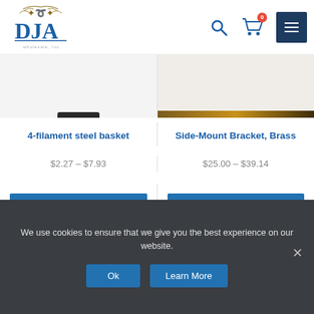[Figure (logo): DJA logo with ornamental design and blue text]
4-filament steel basket
$2.27 – $7.93
SELECT OPTIONS
Side-Mount Bracket, Brass
$25.00 – $39.14
SELECT OPTIONS
We use cookies to ensure that we give you the best experience on our website.
Ok
Learn More